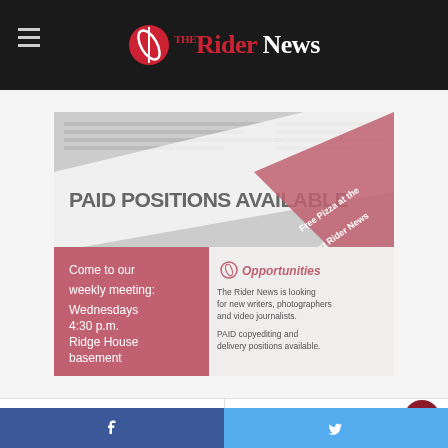The Rider News
[Figure (infographic): Paid Positions Available promotional flyer for The Rider News. Pink and white design with newspaper background. Text: Come to our weekly meeting: Wednesdays 4:30 p.m. Ridge House basement. Opportunities: The Rider News is looking for new writers, photographers and video journalists. PAID copyediting and delivery positions available. Free Pizza at the next Rider News meeting 9.6.17]
Popular
Recent